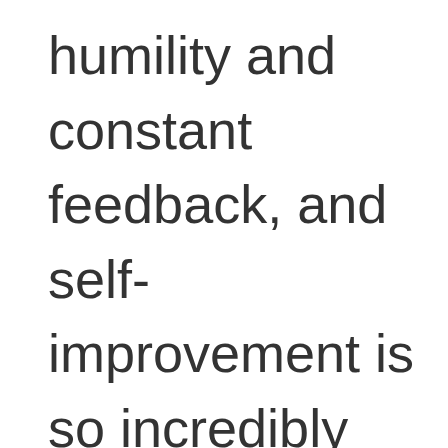humility and constant feedback, and self-improvement is so incredibly important to building a...